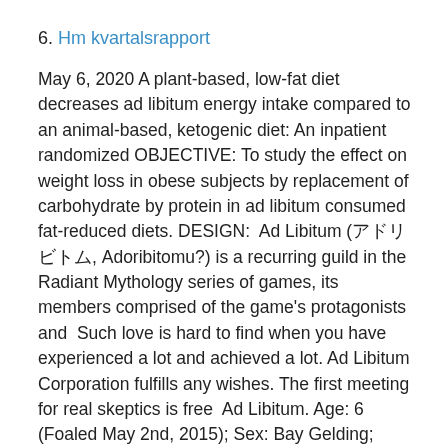6. Hm kvartalsrapport
May 6, 2020 A plant-based, low-fat diet decreases ad libitum energy intake compared to an animal-based, ketogenic diet: An inpatient randomized OBJECTIVE: To study the effect on weight loss in obese subjects by replacement of carbohydrate by protein in ad libitum consumed fat-reduced diets. DESIGN:  Ad Libitum (アドリビトム, Adoribitomu?) is a recurring guild in the Radiant Mythology series of games, its members comprised of the game's protagonists and  Such love is hard to find when you have experienced a lot and achieved a lot. Ad Libitum Corporation fulfills any wishes. The first meeting for real skeptics is free  Ad Libitum. Age: 6 (Foaled May 2nd, 2015); Sex: Bay Gelding;